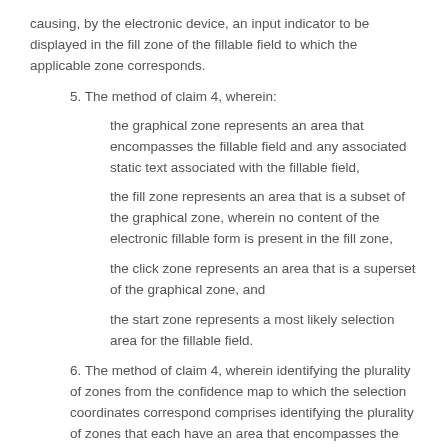causing, by the electronic device, an input indicator to be displayed in the fill zone of the fillable field to which the applicable zone corresponds.
5. The method of claim 4, wherein:
the graphical zone represents an area that encompasses the fillable field and any associated static text associated with the fillable field,
the fill zone represents an area that is a subset of the graphical zone, wherein no content of the electronic fillable form is present in the fill zone,
the click zone represents an area that is a superset of the graphical zone, and
the start zone represents a most likely selection area for the fillable field.
6. The method of claim 4, wherein identifying the plurality of zones from the confidence map to which the selection coordinates correspond comprises identifying the plurality of zones that each have an area that encompasses the